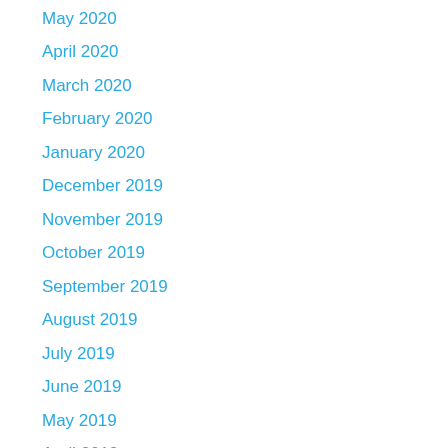May 2020
April 2020
March 2020
February 2020
January 2020
December 2019
November 2019
October 2019
September 2019
August 2019
July 2019
June 2019
May 2019
April 2019
March 2019
February 2019
January 2019
December 2018
November 2018
October 2018
September 2018
August 2018
July 2018